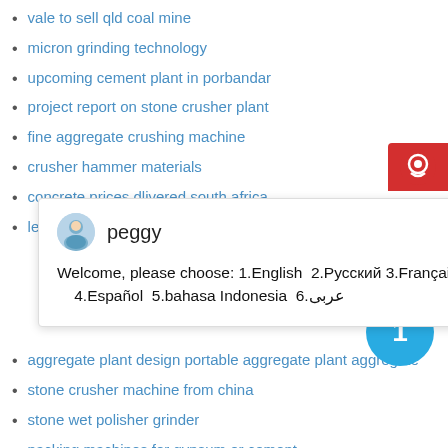vale to sell qld coal mine
micron grinding technology
upcoming cement plant in porbandar
project report on stone crusher plant
fine aggregate crushing machine
crusher hammer materials
concrete prices dlivered south africa
lead ores process
[Figure (screenshot): Chat popup with avatar of 'peggy', close button (×), and message: Welcome, please choose: 1.English 2.Русский 3.Français 4.Español 5.bahasa Indonesia 6.عربى]
aggregate plant design portable aggregate plant aggregate
stone crusher machine from china
stone wet polisher grinder
packing machines for gypsum or cement
surface grinding machine type cpl
portable stone crushers for sale
dry magnetic separator of iron processing equipment for sale
portable limestone jaw crusher price in india
videos de chancadodes